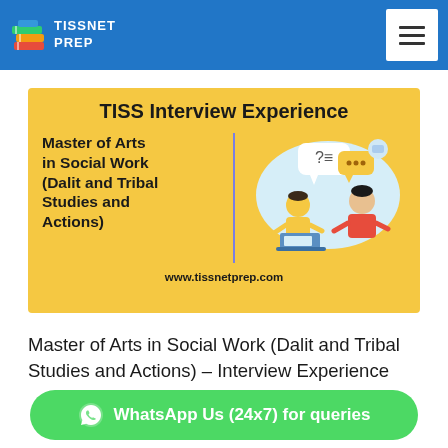TISSNET PREP
[Figure (illustration): TISS Interview Experience banner with yellow background showing Master of Arts in Social Work (Dalit and Tribal Studies and Actions) text and an interview scene illustration with two people talking, speech bubbles with question marks. URL: www.tissnetprep.com]
Master of Arts in Social Work (Dalit and Tribal Studies and Actions) – Interview Experience
WhatsApp Us (24x7) for queries